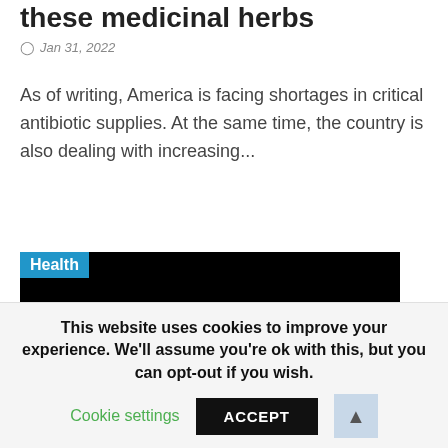these medicinal herbs
Jan 31, 2022
As of writing, America is facing shortages in critical antibiotic supplies. At the same time, the country is also dealing with increasing...
[Figure (photo): Black image block with a 'Health' category badge in the top-left corner]
This website uses cookies to improve your experience. We'll assume you're ok with this, but you can opt-out if you wish.
Cookie settings  ACCEPT